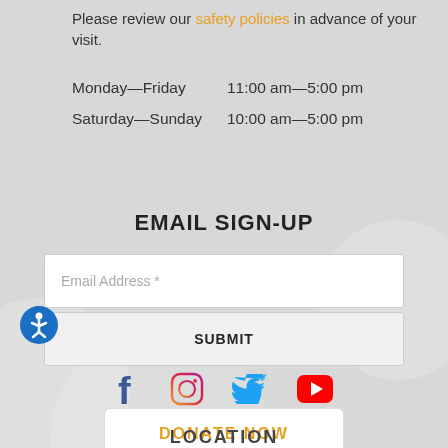Please review our safety policies in advance of your visit.
Monday—Friday   11:00 am—5:00 pm
Saturday—Sunday   10:00 am—5:00 pm
EMAIL SIGN-UP
Email Address *
SUBMIT
[Figure (illustration): Blue accessibility icon showing a person with arms and legs extended]
[Figure (illustration): Social media icons: Facebook, Instagram, Twitter, YouTube]
DONATE NOW
LOCATION